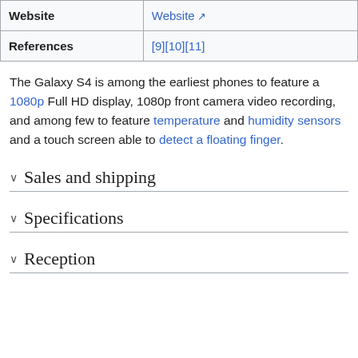| Website | References |
| --- | --- |
| Website | Website ↗ |
| References | [9][10][11] |
The Galaxy S4 is among the earliest phones to feature a 1080p Full HD display, 1080p front camera video recording, and among few to feature temperature and humidity sensors and a touch screen able to detect a floating finger.
Sales and shipping
Specifications
Reception